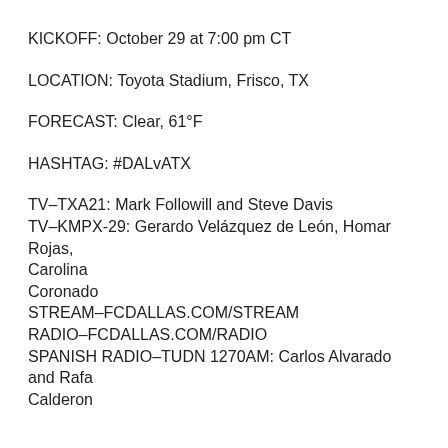KICKOFF: October 29 at 7:00 pm CT
LOCATION: Toyota Stadium, Frisco, TX
FORECAST: Clear, 61°F
HASHTAG: #DALvATX
TV–TXA21: Mark Followill and Steve Davis
TV–KMPX-29: Gerardo Velázquez de León, Homar Rojas, Carolina Coronado
STREAM–FCDALLAS.COM/STREAM
RADIO–FCDALLAS.COM/RADIO
SPANISH RADIO–TUDN 1270AM: Carlos Alvarado and Rafa Calderon